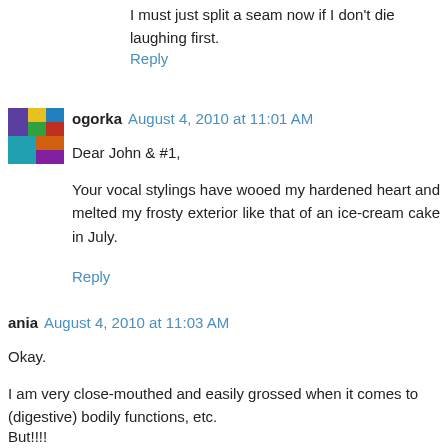I must just split a seam now if I don't die laughing first.
Reply
ogorka  August 4, 2010 at 11:01 AM
Dear John & #1,
Your vocal stylings have wooed my hardened heart and melted my frosty exterior like that of an ice-cream cake in July.
Reply
ania  August 4, 2010 at 11:03 AM
Okay.
I am very close-mouthed and easily grossed when it comes to (digestive) bodily functions, etc.
But!!!!